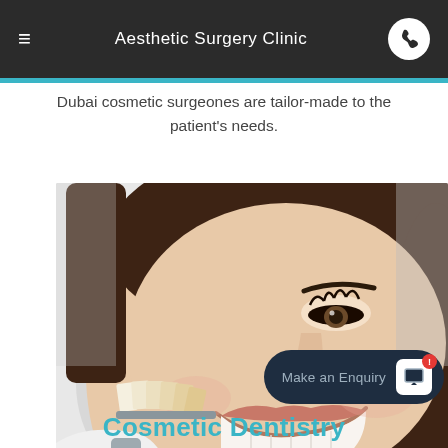Aesthetic Surgery Clinic
Dubai cosmetic surgeones are tailor-made to the patient's needs.
[Figure (photo): Young smiling woman at dentist holding a teeth shade guide/veneer color chart up to her teeth, with gloved hand visible. Light background suggesting dental clinic setting.]
Cosmetic Dentistry